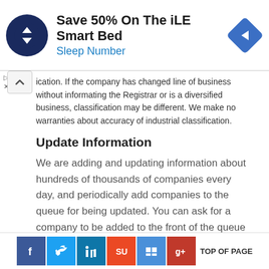[Figure (infographic): Advertisement banner: Sleep Number iLE Smart Bed 50% off ad with circular dark blue logo icon and blue diamond arrow icon on right]
ication. If the company has changed line of business without informating the Registrar or is a diversified business, classification may be different. We make no warranties about accuracy of industrial classification.
Update Information
We are adding and updating information about hundreds of thousands of companies every day, and periodically add companies to the queue for being updated. You can ask for a company to be added to the front of the queue for updating, especially useful if the address, directors, or other critical information has changed. Just click on the 'Update Information' button below to start the
TOP OF PAGE